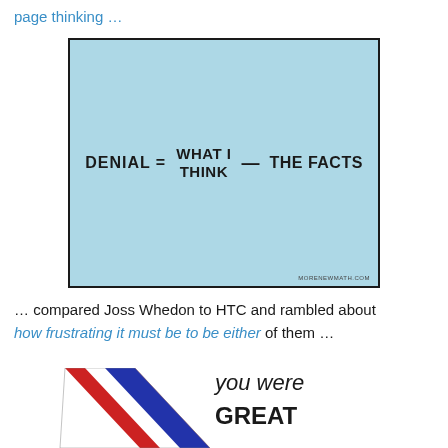page thinking …
[Figure (illustration): Light blue rectangle with black border showing the formula: DENIAL = WHAT I THINK − THE FACTS, with 'MORENEWMATH.COM' watermark in bottom right corner]
… compared Joss Whedon to HTC and rambled about how frustrating it must be to be either of them …
[Figure (illustration): A V-shaped ribbon/medal graphic in red, white, and blue colors with text 'you were GREAT' to the right]